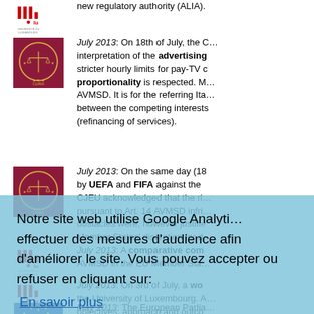July 2013: On 18th of July, the C…interpretation of the advertising…stricter hourly limits for pay-TV…proportionality is respected. M…AVMSD. It is for the referring Ita…between the competing interests…(refinancing of services).
July 2013: On the same day (18…by UEFA and FIFA against the…CJEU acknowledged that the ri…pursuant to Art. 14 AVMSD infri…obstacles were, however justified…Member States' discretion for d…
July 2013: A comparative com…AVMSD in the EU Member Sta…
July 2013: On 3rd of July, a wo…the University of Luxembourg. A…objectives, approach and outco…highlighted certain aspects of th…States. The slides are available…
May 2013: The European Parlia…it…resolution. Parliament…
Notre site web utilise Google Analytics pour effectuer des mesures d'audience afin d'améliorer le site. Vous pouvez accepter ou refuser en cliquant sur: En savoir plus Je n'accepte pas J'accepte